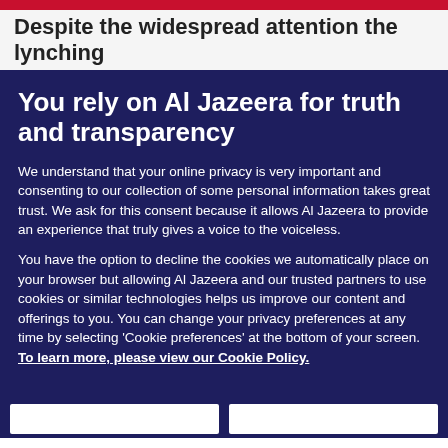Despite the widespread attention the lynching
You rely on Al Jazeera for truth and transparency
We understand that your online privacy is very important and consenting to our collection of some personal information takes great trust. We ask for this consent because it allows Al Jazeera to provide an experience that truly gives a voice to the voiceless.
You have the option to decline the cookies we automatically place on your browser but allowing Al Jazeera and our trusted partners to use cookies or similar technologies helps us improve our content and offerings to you. You can change your privacy preferences at any time by selecting ‘Cookie preferences’ at the bottom of your screen. To learn more, please view our Cookie Policy.